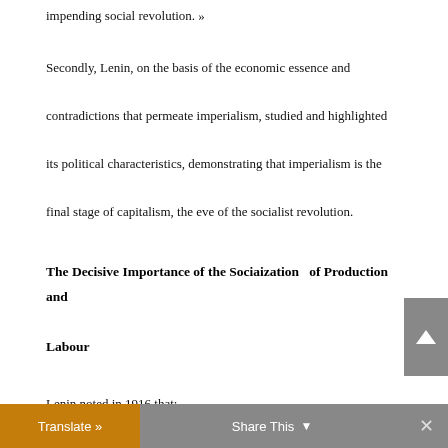impending social revolution. »
Secondly, Lenin, on the basis of the economic essence and contradictions that permeate imperialism, studied and highlighted its political characteristics, demonstrating that imperialism is the final stage of capitalism, the eve of the socialist revolution.
The Decisive Importance of the Sociaization  of Production and Labour
Lenin noted in 1916 that: